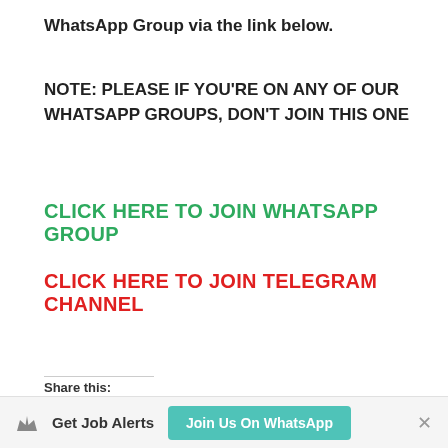WhatsApp Group via the link below.
NOTE: PLEASE IF YOU'RE ON ANY OF OUR WHATSAPP GROUPS, DON'T JOIN THIS ONE
CLICK HERE TO JOIN WHATSAPP GROUP
CLICK HERE TO JOIN TELEGRAM CHANNEL
Share this:
Twitter
Facebook
Get Job Alerts  Join Us On WhatsApp